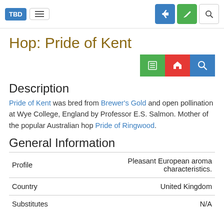TBD [nav bar with hamburger menu, login, edit, search buttons]
Hop: Pride of Kent
[Figure (other): Row of three icon buttons: green list icon, red home icon, blue search icon]
Description
Pride of Kent was bred from Brewer's Gold and open pollination at Wye College, England by Professor E.S. Salmon. Mother of the popular Australian hop Pride of Ringwood.
General Information
| Profile | Pleasant European aroma characteristics. |
| Country | United Kingdom |
| Substitutes | N/A |